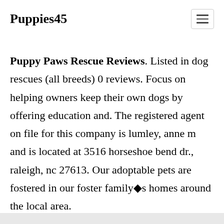Puppies45
Puppy Paws Rescue Reviews. Listed in dog rescues (all breeds) 0 reviews. Focus on helping owners keep their own dogs by offering education and. The registered agent on file for this company is lumley, anne m and is located at 3516 horseshoe bend dr., raleigh, nc 27613. Our adoptable pets are fostered in our foster family�s homes around the local area.